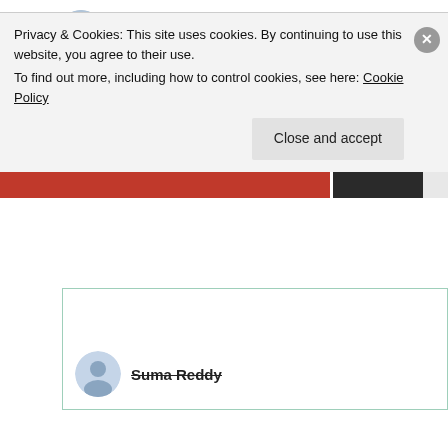Jeff Flesch
5th Jul 2021 at 9:00 pm
“Poetic vs Pathetic,” indeed. That’s awesome; and, of course, I adore your verse. 🙏❤️
★ Liked by 3 people
Log in to Reply
Suma Reddy
Privacy & Cookies: This site uses cookies. By continuing to use this website, you agree to their use.
To find out more, including how to control cookies, see here: Cookie Policy
Close and accept